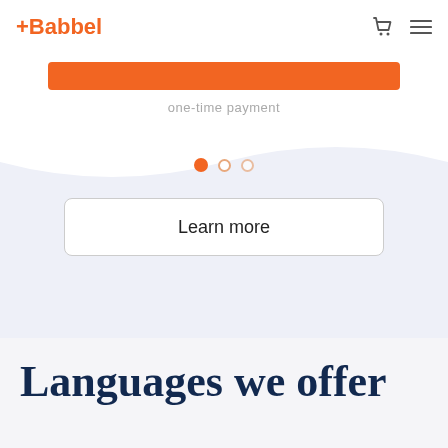+Babbel
[Figure (other): Orange button/bar element]
one-time payment
[Figure (other): Pagination dots: three circles, first active orange, second and third faded orange]
[Figure (other): Learn more button with rounded rectangle border]
Languages we offer